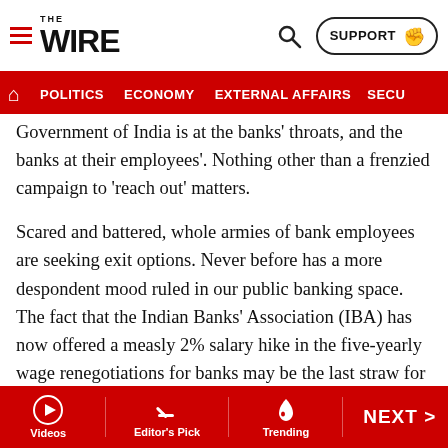THE WIRE — POLITICS | ECONOMY | EXTERNAL AFFAIRS | SECU…
Government of India is at the banks' throats, and the banks at their employees'. Nothing other than a frenzied campaign to 'reach out' matters.
Scared and battered, whole armies of bank employees are seeking exit options. Never before has a more despondent mood ruled in our public banking space. The fact that the Indian Banks' Association (IBA) has now offered a measly 2% salary hike in the five-yearly wage renegotiations for banks may be the last straw for many broken backs.
Bank managements are playing along with elan. Every fresh DFS directive is passed on down, amplified by several degrees. Shouting at employees and officers,
Videos | Editor's Pick | Trending | NEXT >